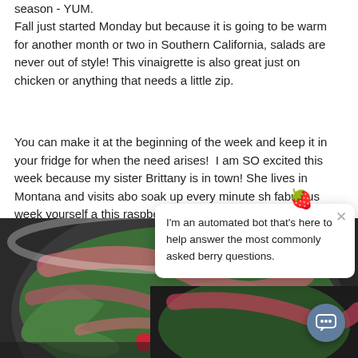season - YUM.
Fall just started Monday but because it is going to be warm for another month or two in Southern California, salads are never out of style! This vinaigrette is also great just on chicken or anything that needs a little zip.
You can make it at the beginning of the week and keep it in your fridge for when the need arises!  I am SO excited this week because my sister Brittany is in town! She lives in Montana and visits abo[...] soak up every minute sh[...] fabulous week yourself a[...] this raspberry vinaigrette[...]
[Figure (photo): Close-up photo of a salad bowl with greens, strawberries, and pink raspberry vinaigrette dressing]
I'm an automated bot that's here to help answer the most commonly asked berry questions.